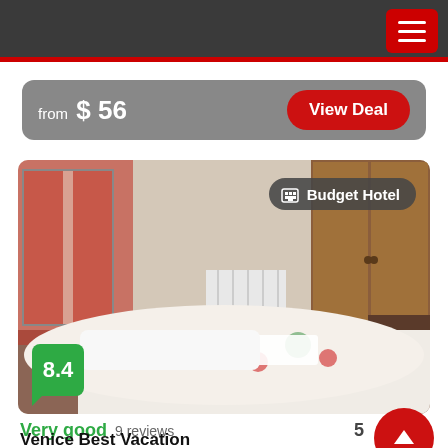Navigation menu
from $ 56
View Deal
[Figure (photo): Hotel room interior with floral bedspread, red curtains, wooden wardrobe, radiator, and Budget Hotel badge overlay]
8.4
Very good  9 reviews
Venice Best Vacation